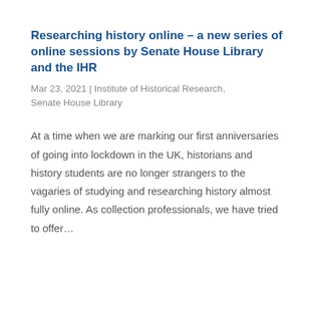Researching history online – a new series of online sessions by Senate House Library and the IHR
Mar 23, 2021 | Institute of Historical Research, Senate House Library
At a time when we are marking our first anniversaries of going into lockdown in the UK, historians and history students are no longer strangers to the vagaries of studying and researching history almost fully online. As collection professionals, we have tried to offer...